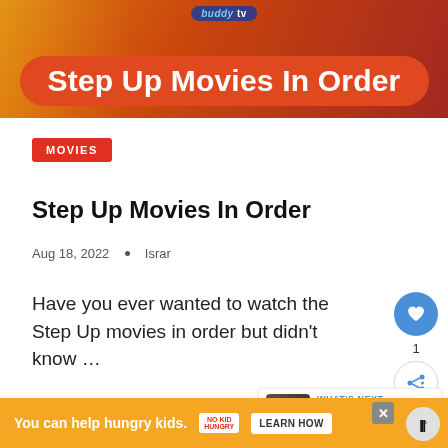[Figure (illustration): BuddyTV branded hero banner with orange-red rounded rectangle containing bold white text 'Step Up Movies In Order']
MOVIES
Step Up Movies In Order
Aug 18, 2022 • Israr
Have you ever wanted to watch the Step Up movies in order but didn't know …
[Figure (photo): Dark film still image at bottom left]
[Figure (photo): Headphones / electronics image at bottom right]
WHAT'S NEXT → Exclusive Interview:...
You can help hungry kids.  NO KID HUNGRY  LEARN HOW